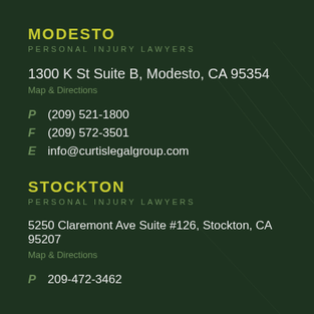MODESTO
PERSONAL INJURY LAWYERS
1300 K St Suite B, Modesto, CA 95354
Map & Directions
P   (209) 521-1800
F   (209) 572-3501
E   info@curtislegalgroup.com
STOCKTON
PERSONAL INJURY LAWYERS
5250 Claremont Ave Suite #126, Stockton, CA 95207
Map & Directions
P   209-472-3462